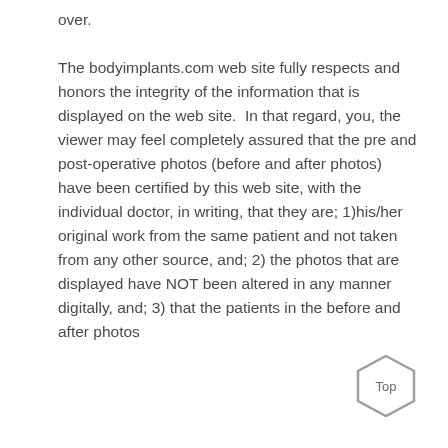over.

The bodyimplants.com web site fully respects and honors the integrity of the information that is displayed on the web site.  In that regard, you, the viewer may feel completely assured that the pre and post-operative photos (before and after photos) have been certified by this web site, with the individual doctor, in writing, that they are; 1)his/her original work from the same patient and not taken from any other source, and; 2) the photos that are displayed have NOT been altered in any manner digitally, and; 3) that the patients in the before and after photos
[Figure (other): Hexagonal 'Top' navigation button in grey outline]